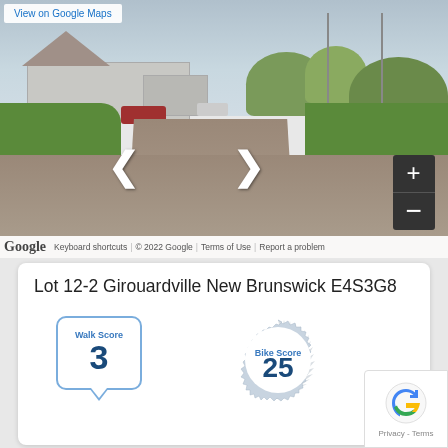[Figure (photo): Google Street View of a suburban area in Girouardville, New Brunswick. Shows a gravel driveway leading to a white house, green lawns on either side, utility poles, and other houses in the background. Navigation arrows visible on the road. Zoom controls (+/-) in the bottom right. Google watermark and attribution bar at the bottom.]
View on Google Maps
Google  Keyboard shortcuts  © 2022 Google  Terms of Use  Report a problem
Lot 12-2 Girouardville New Brunswick E4S3G8
[Figure (infographic): Walk Score badge showing score of 3]
[Figure (infographic): Bike Score badge showing score of 25]